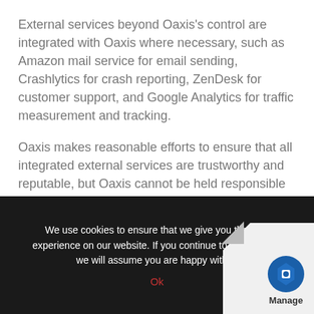External services beyond Oaxis's control are integrated with Oaxis where necessary, such as Amazon mail service for email sending, Crashlytics for crash reporting, ZenDesk for customer support, and Google Analytics for traffic measurement and tracking.
Oaxis makes reasonable efforts to ensure that all integrated external services are trustworthy and reputable, but Oaxis cannot be held responsible for data collection and usage by such services.
Our Commitment To Data Security
We use cookies to ensure that we give you the best experience on our website. If you continue to use this site we will assume you are happy with it.
Ok